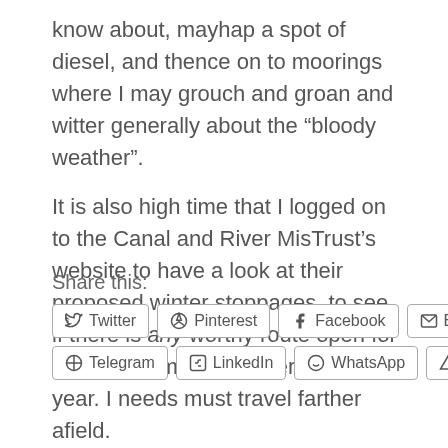know about, mayhap a spot of diesel, and thence on to moorings where I may grouch and groan and witter generally about the “bloody weather”.
It is also high time that I logged on to the Canal and River MisTrust’s website to have a look at their proposed winter stoppages, to see if there is any worthy route open for me to lose myself in later in the year. I needs must travel farther afield.
Chin-chin.
Ian H.
Share this:
Twitter
Pinterest
Facebook
Email
Telegram
LinkedIn
WhatsApp
Tumblr